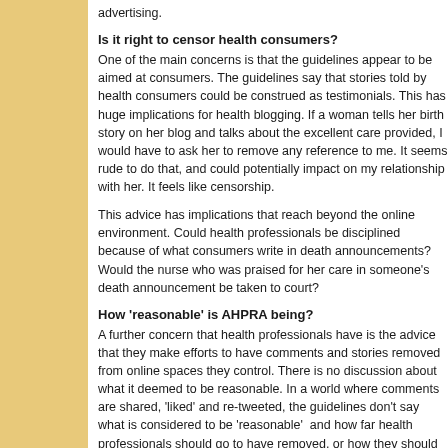advertising.
Is it right to censor health consumers?
One of the main concerns is that the guidelines appear to be aimed at consumers. The guidelines say that stories told by health consumers could be construed as testimonials. This has huge implications for health blogging. If a woman tells her birth story on her blog and talks about the excellent care provided, I would have to ask her to remove any reference to me. It seems rude to do that, and could potentially impact on my relationship with her. It feels like censorship.
This advice has implications that reach beyond the online environment. Could health professionals be disciplined because of what consumers write in death announcements? Would the nurse who was praised for her care in someone's death announcement be taken to court?
How 'reasonable' is AHPRA being?
A further concern that health professionals have is the advice that they make efforts to have comments and stories removed from online spaces they control. There is no discussion about what it deemed to be reasonable. In a world where comments are shared, 'liked' and re-tweeted, the guidelines don't say what is considered to be 'reasonable'  and how far health professionals should go to have removed, or how they should track online content.
All for one, and one for all?